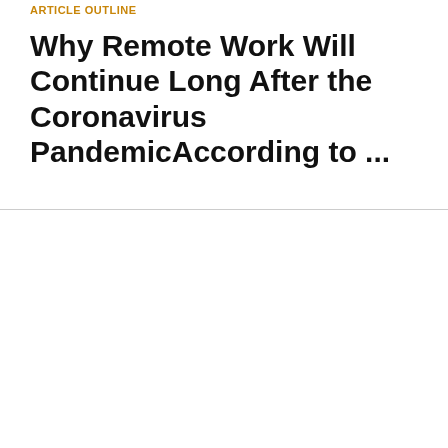ARTICLE OUTLINE
Why Remote Work Will Continue Long After the Coronavirus PandemicAccording to ...